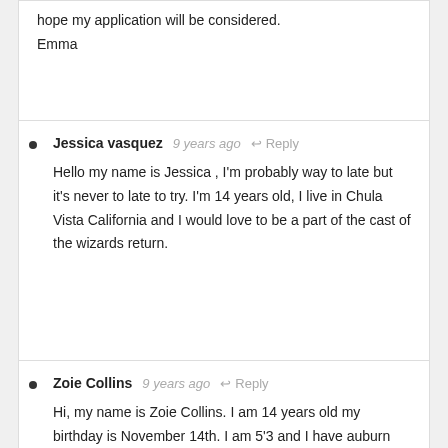hope my application will be considered.
Emma
Jessica vasquez  9 years ago  Reply
Hello my name is Jessica , I'm probably way to late but it's never to late to try. I'm 14 years old, I live in Chula Vista California and I would love to be a part of the cast of the wizards return.
Zoie Collins  9 years ago  Reply
Hi, my name is Zoie Collins. I am 14 years old my birthday is November 14th. I am 5'3 and I have auburn purplish